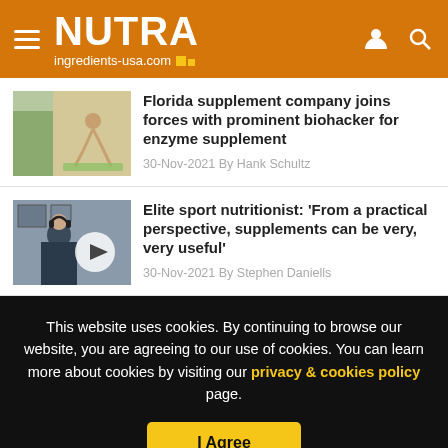NUTRA ingredients-usa.com
Florida supplement company joins forces with prominent biohacker for enzyme supplement
30-Nov-2021 By Hank Schultz
Elite sport nutritionist: ‘From a practical perspective, supplements can be very, very useful’
30-Nov-2021 By Stephen Daniells
This website uses cookies. By continuing to browse our website, you are agreeing to our use of cookies. You can learn more about cookies by visiting our privacy & cookies policy page.